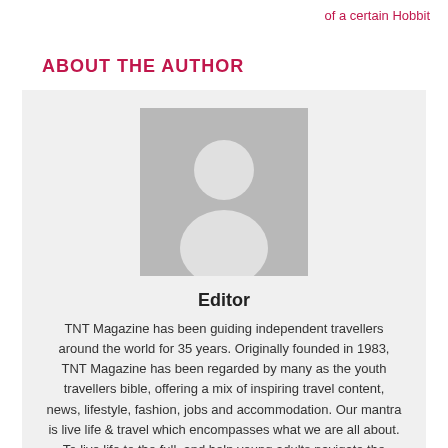of a certain Hobbit
ABOUT THE AUTHOR
[Figure (illustration): Generic grey placeholder avatar showing a white silhouette of a person on a grey background]
Editor
TNT Magazine has been guiding independent travellers around the world for 35 years. Originally founded in 1983, TNT Magazine has been regarded by many as the youth travellers bible, offering a mix of inspiring travel content, news, lifestyle, fashion, jobs and accommodation. Our mantra is live life & travel which encompasses what we are all about. To live life to the full, and help young adults navigate the tribulations of working, living and experiencing adventure through travel. We have developed a great reputation throughout the world as an independent and trusted source of quality content and advice